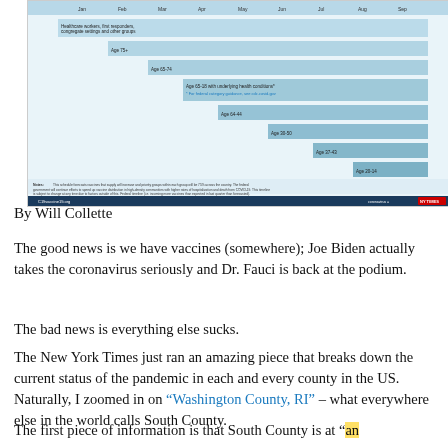[Figure (infographic): A stepped/cascading chart showing COVID-19 vaccine distribution priority groups by age and condition, with a CDC/coronavirus.gov branding footer. The chart shows staircase-style colored bars for different age and priority groups.]
By Will Collette
The good news is we have vaccines (somewhere); Joe Biden actually takes the coronavirus seriously and Dr. Fauci is back at the podium.
The bad news is everything else sucks.
The New York Times just ran an amazing piece that breaks down the current status of the pandemic in each and every county in the US. Naturally, I zoomed in on “Washington County, RI” – what everywhere else in the world calls South County.
The first piece of information is that South County is at “an extreme level of risk” (emphasis in theirs). 14 South...